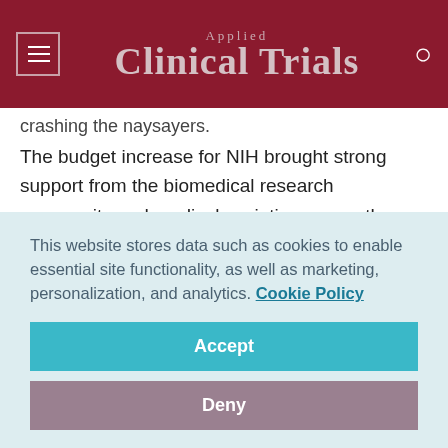Applied Clinical Trials
crashing the naysayers.
The budget increase for NIH brought strong support from the biomedical research community and medical societies across the board. Leading up to the Friday morning vote, Upton and his allies issued a barrage of statements from hundreds of patient and rare disease groups, universities, cancer centers and drug and medical device companies cheering provisions in the bill designed to accelerate new
This website stores data such as cookies to enable essential site functionality, as well as marketing, personalization, and analytics. Cookie Policy
Accept
Deny